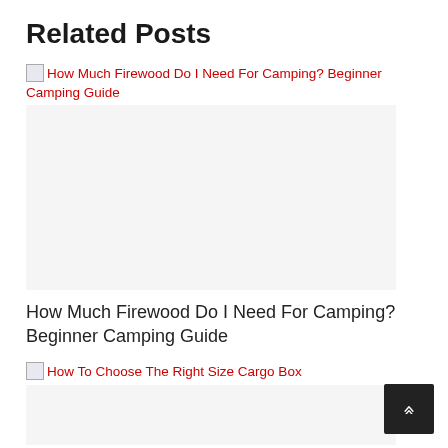Related Posts
[Figure (other): Broken image thumbnail for 'How Much Firewood Do I Need For Camping? Beginner Camping Guide' post link with red hyperlink text]
[Figure (photo): Large image placeholder for How Much Firewood Do I Need For Camping article]
How Much Firewood Do I Need For Camping? Beginner Camping Guide
[Figure (other): Broken image thumbnail for 'How To Choose The Right Size Cargo Box' post link with red hyperlink text]